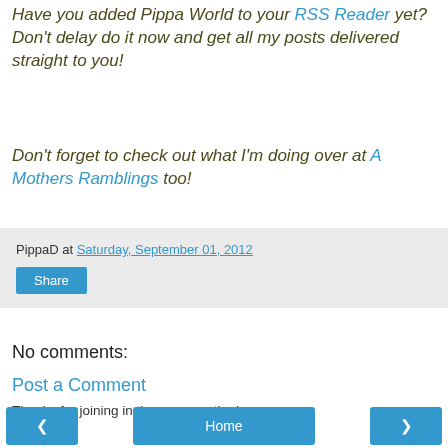Have you added Pippa World to your RSS Reader yet? Don't delay do it now and get all my posts delivered straight to you!
Don't forget to check out what I'm doing over at A Mothers Ramblings too!
PippaD at Saturday, September 01, 2012
Share
No comments:
Post a Comment
Thanks for joining in the conversation!
‹ Home ›